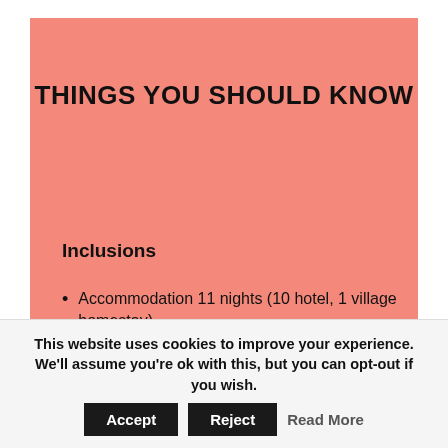THINGS YOU SHOULD KNOW
Inclusions
Accommodation 11 nights (10 hotel, 1 village homestay)
Meals (24, as stated in itinerary)
Transportation on the ground (except
This website uses cookies to improve your experience. We'll assume you're ok with this, but you can opt-out if you wish. Accept Reject Read More